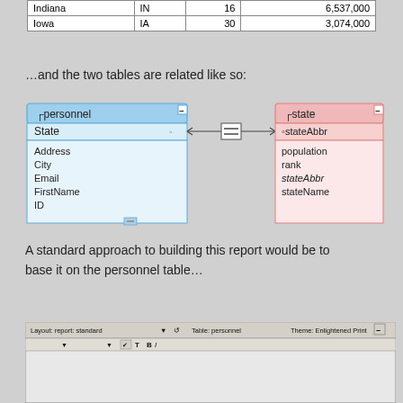| Indiana | IN | 16 | 6,537,000 |
| Iowa | IA | 30 | 3,074,000 |
…and the two tables are related like so:
[Figure (engineering-diagram): Entity-relationship diagram showing two tables: personnel (with fields State, Address, City, Email, FirstName, ID) and state (with fields stateAbbr, population, rank, stateAbbr, stateName), connected by a join line from State to stateAbbr with an equality symbol in the middle.]
A standard approach to building this report would be to base it on the personnel table…
[Figure (screenshot): FileMaker Pro layout screenshot showing Layout: report: standard, Table: personnel, Theme: Enlightened Print, with <<state::stateName>> header and columns FirstName, LastName, Address, City, State]